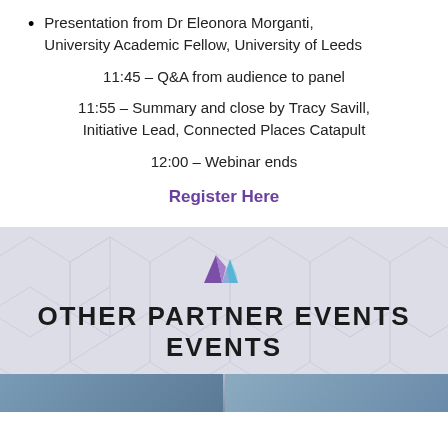Presentation from Dr Eleonora Morganti, University Academic Fellow, University of Leeds
11:45 – Q&A from audience to panel
11:55 – Summary and close by Tracy Savill, Initiative Lead, Connected Places Catapult
12:00 – Webinar ends
Register Here
[Figure (logo): Connected Places Catapult logo with purple and blue mountain/arrow shapes]
OTHER PARTNER EVENTS EVENTS